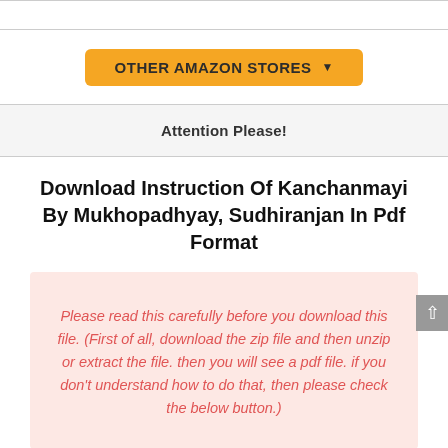[Figure (screenshot): Top white bar area (partial UI element)]
[Figure (screenshot): Orange button labeled OTHER AMAZON STORES with dropdown arrow]
Attention Please!
Download Instruction Of Kanchanmayi By Mukhopadhyay, Sudhiranjan In Pdf Format
Please read this carefully before you download this file. (First of all, download the zip file and then unzip or extract the file. then you will see a pdf file. if you don't understand how to do that, then please check the below button.)